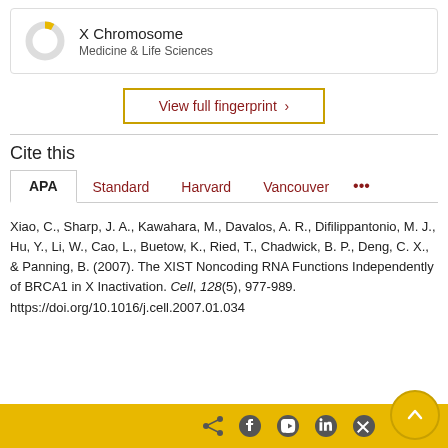[Figure (donut-chart): Donut chart icon with yellow highlight segment for X Chromosome topic]
X Chromosome
Medicine & Life Sciences
View full fingerprint ›
Cite this
APA  Standard  Harvard  Vancouver  ...
Xiao, C., Sharp, J. A., Kawahara, M., Davalos, A. R., Difilippantonio, M. J., Hu, Y., Li, W., Cao, L., Buetow, K., Ried, T., Chadwick, B. P., Deng, C. X., & Panning, B. (2007). The XIST Noncoding RNA Functions Independently of BRCA1 in X Inactivation. Cell, 128(5), 977-989. https://doi.org/10.1016/j.cell.2007.01.034